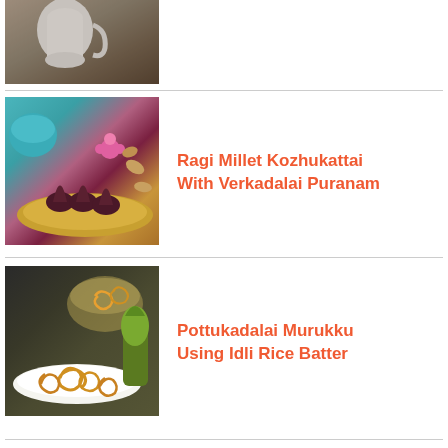[Figure (photo): Partial view of white ceramic pitcher/jug on a wooden background]
[Figure (photo): Ragi Millet Kozhukattai (dark brown modak-shaped sweets) on a golden plate with teal bowl, coconut and flower in background]
Ragi Millet Kozhukattai With Verkadalai Puranam
[Figure (photo): Pottukadalai Murukku (spiral fried snacks) on a white plate with golden color, glass bowl in background]
Pottukadalai Murukku Using Idli Rice Batter